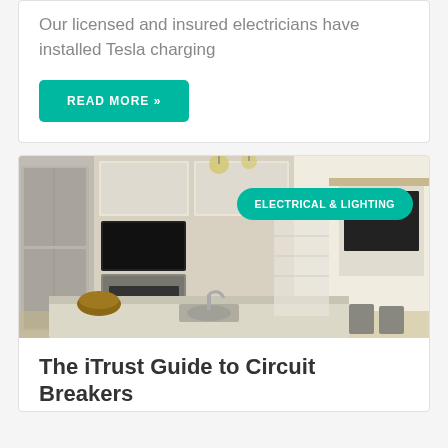Our licensed and insured electricians have installed Tesla charging
READ MORE »
[Figure (photo): Modern kitchen interior with stainless steel appliances, white cabinetry, pendant lights, and a large island with a wooden bowl]
ELECTRICAL & LIGHTING
The iTrust Guide to Circuit Breakers